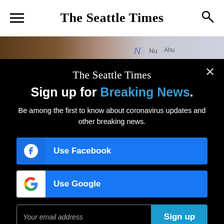The Seattle Times
[Figure (photo): Partial photo strip showing a brown and grey background with partial handwritten text]
The Seattle Times
Sign up for Breaking News.
Be among the first to know about coronavirus updates and other breaking news.
Use Facebook
Use Google
Your email address
Sign up
By signing up you are agreeing to our Privacy Policy and Terms of Service.